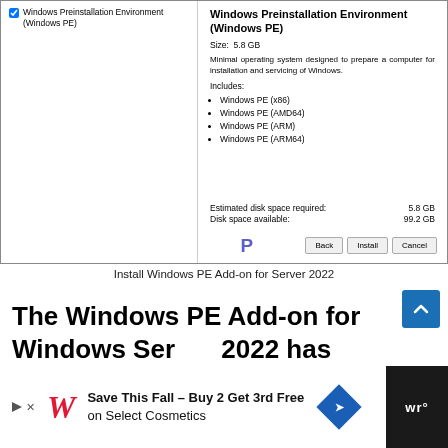[Figure (screenshot): Windows PE Add-on installer dialog showing Windows Preinstallation Environment selected with size 5.8 GB, description, includes list (Windows PE x86, AMD64, ARM, ARM64), estimated disk space 5.8 GB, available 99.2 GB, and Back/Install/Cancel buttons.]
Install Windows PE Add-on for Server 2022
The Windows PE Add-on for Windows Server 2022 has been installed on the server.
[Figure (screenshot): Advertisement banner: Save This Fall – Buy 2 Get 3rd Free on Select Cosmetics (Walgreens)]